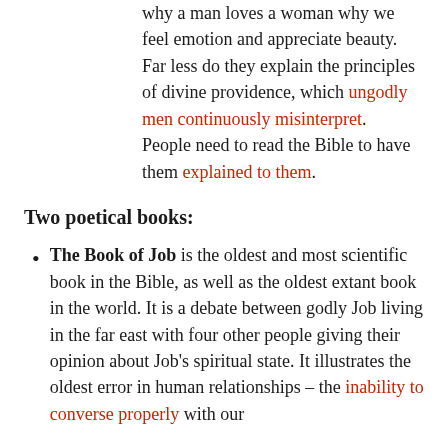why a man loves a woman why we feel emotion and appreciate beauty. Far less do they explain the principles of divine providence, which ungodly men continuously misinterpret. People need to read the Bible to have them explained to them.
Two poetical books:
The Book of Job is the oldest and most scientific book in the Bible, as well as the oldest extant book in the world. It is a debate between godly Job living in the far east with four other people giving their opinion about Job's spiritual state. It illustrates the oldest error in human relationships – the inability to converse properly with our